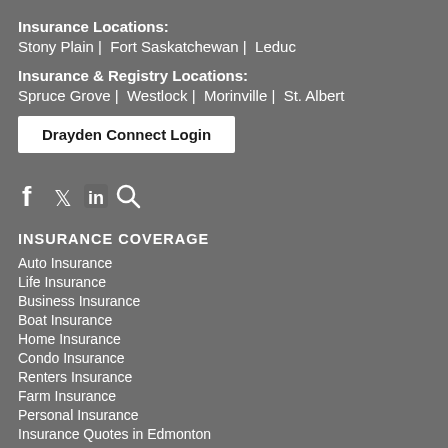Insurance Locations:
Stony Plain |  Fort Saskatchewan |  Leduc
Insurance & Registry Locations:
Spruce Grove |  Westlock |  Morinville |  St. Albert
Drayden Connect Login
[Figure (infographic): Social media icons: Facebook, Twitter, LinkedIn, Search]
INSURANCE COVERAGE
Auto Insurance
Life Insurance
Business Insurance
Boat Insurance
Home Insurance
Condo Insurance
Renters Insurance
Farm Insurance
Personal Insurance
Insurance Quotes in Edmonton
Insurance Rates